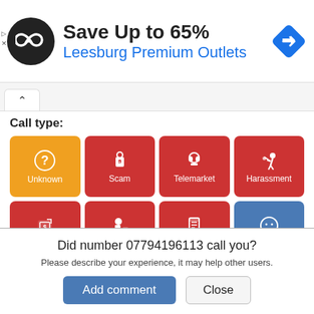[Figure (screenshot): Advertisement banner: black circular logo with arrow icon, 'Save Up to 65%' in bold black, 'Leesburg Premium Outlets' in blue, blue diamond navigation arrow icon on right]
[Figure (screenshot): Tab bar with collapse/up chevron tab button]
Call type:
[Figure (infographic): Grid of call type buttons: Unknown (orange), Scam (red), Telemarket (red), Harassment (red), Debt collector (red), Spam (red), Survey (red), Positive (blue)]
Text:
Did number 07794196113 call you?
Please describe your experience, it may help other users.
Add comment
Close